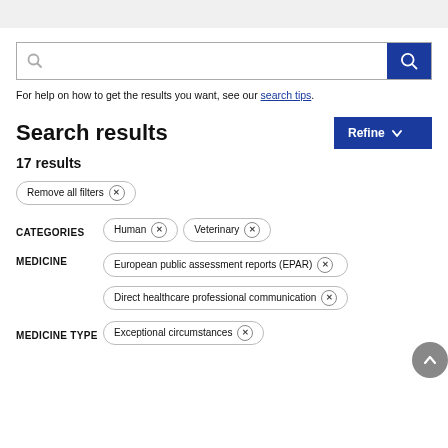For help on how to get the results you want, see our search tips.
Search results
17 results
Remove all filters ×
CATEGORIES
Human ×
Veterinary ×
MEDICINE
European public assessment reports (EPAR) ×
Direct healthcare professional communication ×
MEDICINE TYPE
Exceptional circumstances ×